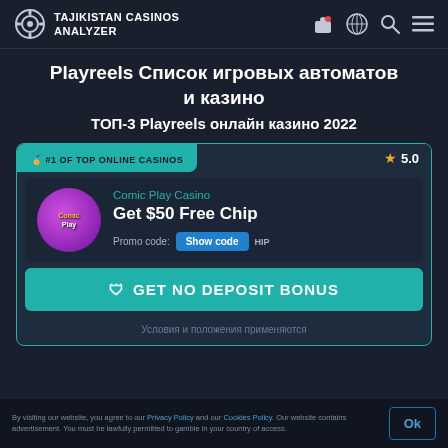TAJIKISTAN CASINOS ANALYZER
Playreels Список игровых автоматов и казино
ТОП-3 Playreels онлайн казино 2022
[Figure (screenshot): Casino card for Comic Play Casino showing #1 of top online casinos badge, 5.0 star rating, Get $50 Free Chip bonus, Promo code Show code button, and GET NO DEPOSIT BONUS call to action button]
Условия и положения применяются
By visiting our website, you agree to our Privacy Policy and our Cookies Policy. Our website contains advertisement. You must be lawfully permitted to gamble in your country of access.